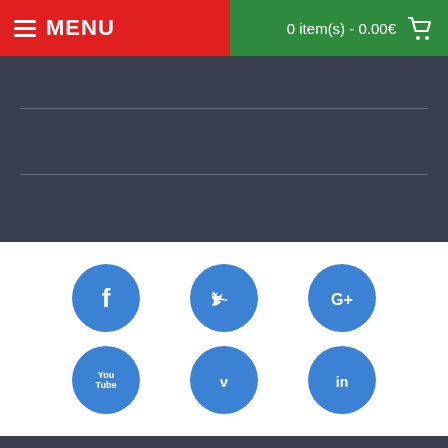MENU | 0 item(s) - 0.00€
[Figure (screenshot): Dark navigation/content area with two horizontal divider lines]
[Figure (infographic): Social media icons: Facebook, Twitter, Google+, YouTube, Vimeo, LinkedIn — blue circular icons on white background]
Stay up to date with exclusive deals and promotions by signing up for our weekly newsletter.
Email Address...
SIGN UP